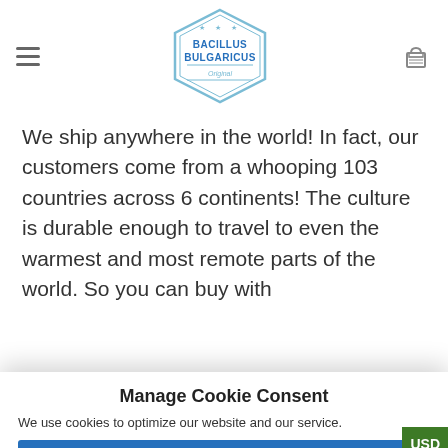Bacillus Bulgaricus [logo, hamburger menu, cart icon]
We ship anywhere in the world! In fact, our customers come from a whooping 103 countries across 6 continents! The culture is durable enough to travel to even the warmest and most remote parts of the world. So you can buy with
Manage Cookie Consent
We use cookies to optimize our website and our service.
ACCEPT
DENY
PREFERENCES